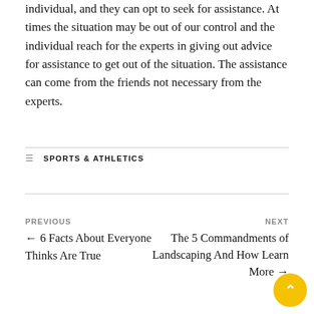individual, and they can opt to seek for assistance. At times the situation may be out of our control and the individual reach for the experts in giving out advice for assistance to get out of the situation. The assistance can come from the friends not necessary from the experts.
SPORTS & ATHLETICS
PREVIOUS ← 6 Facts About Everyone Thinks Are True
NEXT The 5 Commandments of Landscaping And How Learn More →